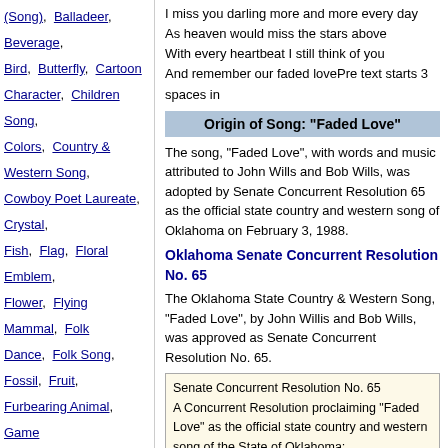(Song), Balladeer, Beverage, Bird, Butterfly, Cartoon Character, Children Song, Colors, Country & Western Song, Cowboy Poet Laureate, Crystal, Fish, Flag, Floral Emblem, Flower, Flying Mammal, Folk Dance, Folk Song, Fossil, Fruit, Furbearing Animal, Game Animal, Game Bird, Gospel Song, Grass, Insect, Land Run Song, Meal, Motto, Musical Instrument, Nicknames, Percussive Musical Instrument, Pin, Poem, Poet Laureate, Quarter, Reptile, Rock, Rock Song (Former), Salute to the
I miss you darling more and more every day
As heaven would miss the stars above
With every heartbeat I still think of you
And remember our faded lovePre text starts 3 spaces in
Origin of Song: "Faded Love"
The song, "Faded Love", with words and music attributed to John Wills and Bob Wills, was adopted by Senate Concurrent Resolution 65 as the official state country and western song of Oklahoma on February 3, 1988.
Oklahoma Senate Concurrent Resolution No. 65
The Oklahoma State Country & Western Song, "Faded Love", by John Willis and Bob Wills, was approved as Senate Concurrent Resolution No. 65.
Senate Concurrent Resolution No. 65
A Concurrent Resolution proclaiming "Faded Love" as the official state country and western song of the State of Oklahoma;
commending Wills family for their musical contributions;